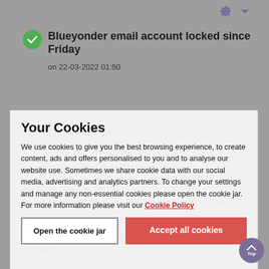[Figure (screenshot): Forum post screenshot showing a Blueyonder email account issue, partially obscured by a cookie consent overlay. The post title reads 'Blueyonder email account locked since Friday' dated 22-03-2022 01:50. Post content describes account being locked without warning on Friday 18 March, with server error 530 5.1.0 Authentication Required (VM401). A cookie consent dialog overlays the content with title 'Your Cookies', explanatory text about cookie usage, a 'Cookie Policy' link, 'Open the cookie jar' and 'Accept all cookies' buttons.]
Blueyonder email account locked since Friday
on 22-03-2022 01:50
Without warning my blueyonder account was locked on Friday 18 March.
I rcvd following when trying to send/receive
Message on my email:
Server responded:530 5.1.0 Authentication Required (VM401)
I have raised a ticket #450432e,#5301 04
Your Cookies
We use cookies to give you the best browsing experience, to create content, ads and offers personalised to you and to analyse our website use. Sometimes we share cookie data with our social media, advertising and analytics partners. To change your settings and manage any non-essential cookies please open the cookie jar. For more information please visit our Cookie Policy
Admittedly I no longer have a VM account so can't reset password.
How do I resolve this issue - account locked nit